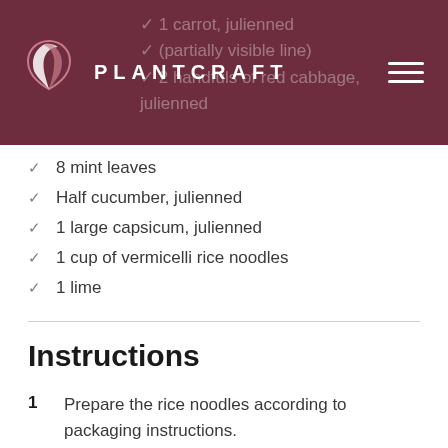PLANTCRAFT
8 mint leaves
Half cucumber, julienned
1 large capsicum, julienned
1 cup of vermicelli rice noodles
1 lime
Instructions
1  Prepare the rice noodles according to packaging instructions.
2  Add warm water to a dinner plate. Place a